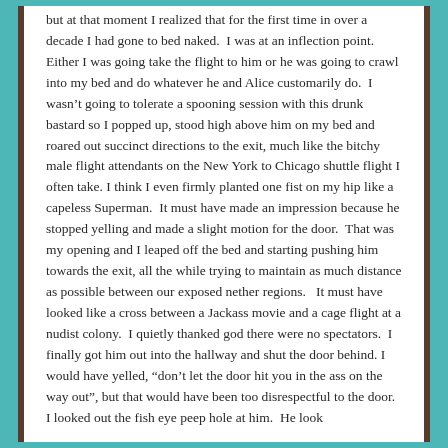but at that moment I realized that for the first time in over a decade I had gone to bed naked.  I was at an inflection point.  Either I was going take the flight to him or he was going to crawl into my bed and do whatever he and Alice customarily do.  I wasn't going to tolerate a spooning session with this drunk bastard so I popped up, stood high above him on my bed and roared out succinct directions to the exit, much like the bitchy male flight attendants on the New York to Chicago shuttle flight I often take. I think I even firmly planted one fist on my hip like a capeless Superman.  It must have made an impression because he stopped yelling and made a slight motion for the door.  That was my opening and I leaped off the bed and starting pushing him towards the exit, all the while trying to maintain as much distance as possible between our exposed nether regions.   It must have looked like a cross between a Jackass movie and a cage flight at a nudist colony.  I quietly thanked god there were no spectators.  I finally got him out into the hallway and shut the door behind. I would have yelled, “don’t let the door hit you in the ass on the way out”, but that would have been too disrespectful to the door.  I looked out the fish eye peep hole at him.  He look